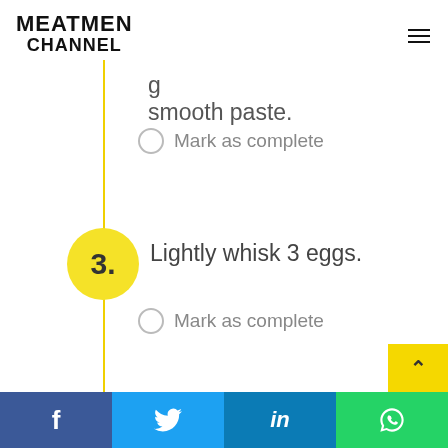MEATMEN CHANNEL
smooth paste.
Mark as complete
3. Lightly whisk 3 eggs.
Mark as complete